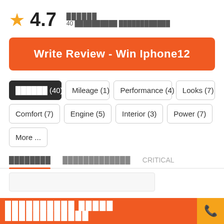4.7 ██████ 40 ██████████ ████████████
Write Review - Win Iphone12
██████ (40)
Mileage (1)
Performance (4)
Looks (7)
Comfort (7)
Engine (5)
Interior (3)
Power (7)
More ...
████████ | █████████████ | CRITICAL
████████████ █████ ████████████